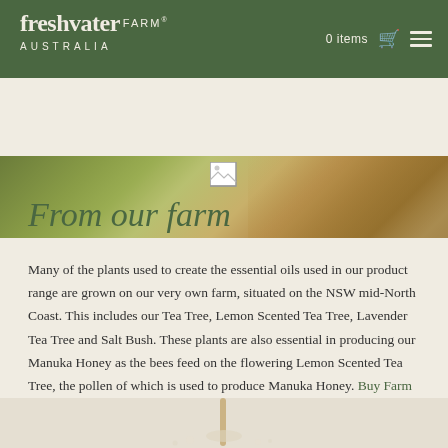freshwater FARM® AUSTRALIA — 0 items
[Figure (photo): Aerial/field view of green farm grass and soil, used as hero banner image]
[Figure (photo): Small broken/loading image icon in center of page]
From our farm
Many of the plants used to create the essential oils used in our product range are grown on our very own farm, situated on the NSW mid-North Coast. This includes our Tea Tree, Lemon Scented Tea Tree, Lavender Tea Tree and Salt Bush. These plants are also essential in producing our Manuka Honey as the bees feed on the flowering Lemon Scented Tea Tree, the pollen of which is used to produce Manuka Honey. Buy Farm Honey here .
[Figure (photo): Bottom partial photo strip showing floral/plant detail with white petals on cream background]